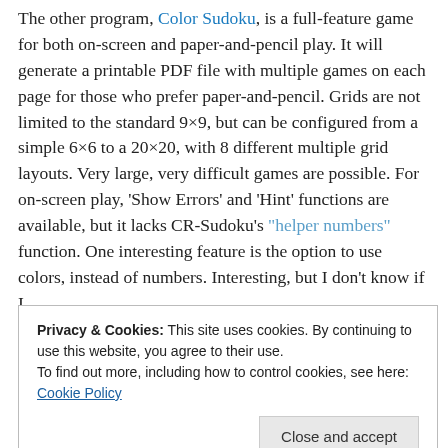The other program, Color Sudoku, is a full-feature game for both on-screen and paper-and-pencil play. It will generate a printable PDF file with multiple games on each page for those who prefer paper-and-pencil. Grids are not limited to the standard 9×9, but can be configured from a simple 6×6 to a 20×20, with 8 different multiple grid layouts. Very large, very difficult games are possible. For on-screen play, 'Show Errors' and 'Hint' functions are available, but it lacks CR-Sudoku's "helper numbers" function. One interesting feature is the option to use colors, instead of numbers. Interesting, but I don't know if I
Privacy & Cookies: This site uses cookies. By continuing to use this website, you agree to their use.
To find out more, including how to control cookies, see here: Cookie Policy
Close and accept
Sudoku is my first choice, however, if your preference is